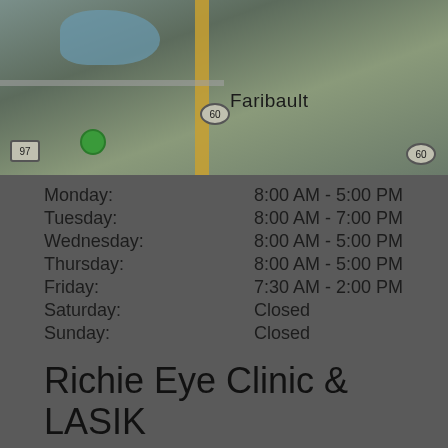[Figure (map): Google Maps screenshot showing Faribault area with roads, blue water patches, route badges (60, 97), a yellow vertical road, and a green location pin.]
| Day | Hours |
| --- | --- |
| Monday: | 8:00 AM - 5:00 PM |
| Tuesday: | 8:00 AM - 7:00 PM |
| Wednesday: | 8:00 AM - 5:00 PM |
| Thursday: | 8:00 AM - 5:00 PM |
| Friday: | 7:30 AM - 2:00 PM |
| Saturday: | Closed |
| Sunday: | Closed |
Richie Eye Clinic & LASIK Center – Northfield
710 Division St. S
Northfield, MN 55057
Phone:
507-645-1264